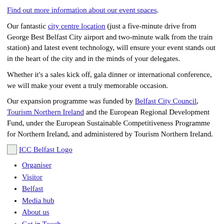Find out more information about our event spaces.
Our fantastic city centre location (just a five-minute drive from George Best Belfast City airport and two-minute walk from the train station) and latest event technology, will ensure your event stands out in the heart of the city and in the minds of your delegates.
Whether it’s a sales kick off, gala dinner or international conference, we will make your event a truly memorable occasion.
Our expansion programme was funded by Belfast City Council, Tourism Northern Ireland and the European Regional Development Fund, under the European Sustainable Competitiveness Programme for Northern Ireland, and administered by Tourism Northern Ireland.
[Figure (logo): ICC Belfast Logo]
Organiser
Visitor
Belfast
Media hub
About us
Get in Touch